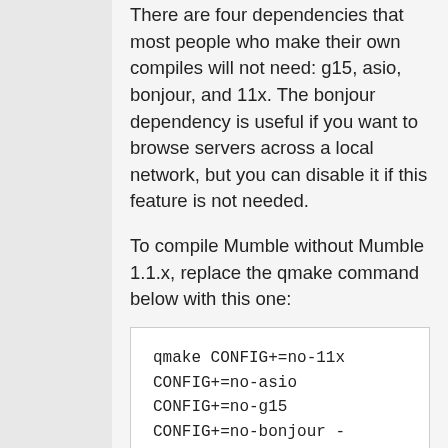There are four dependencies that most people who make their own compiles will not need: g15, asio, bonjour, and 11x. The bonjour dependency is useful if you want to browse servers across a local network, but you can disable it if this feature is not needed.
To compile Mumble without Mumble 1.1.x, replace the qmake command below with this one:
qmake CONFIG+=no-11x CONFIG+=no-asio CONFIG+=no-g15 CONFIG+=no-bonjour -recursive
To compile Mumble with Mumble 1.1.x, replace the qmake